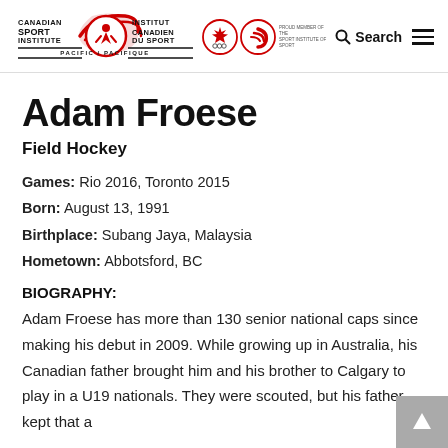Canadian Sport Institute Pacific / Institut Canadien Du Sport – Search – Menu
Adam Froese
Field Hockey
Games: Rio 2016, Toronto 2015
Born: August 13, 1991
Birthplace: Subang Jaya, Malaysia
Hometown: Abbotsford, BC
BIOGRAPHY:
Adam Froese has more than 130 senior national caps since making his debut in 2009. While growing up in Australia, his Canadian father brought him and his brother to Calgary to play in a U19 nationals. They were scouted, but his father kept that a